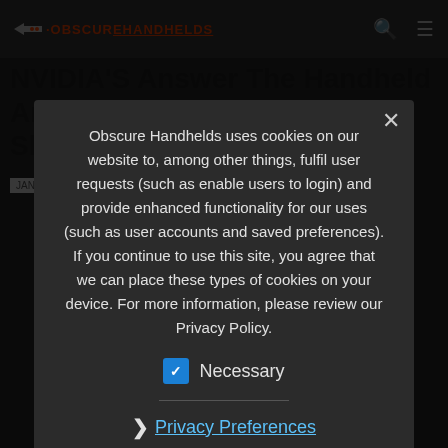OBSCUREHANDHELDS
NVIDIA'S Answer The Handheld Android Gaming – Project Shield
JANUARY 7, 2013
Obscure Handhelds uses cookies on our website to, among other things, fulfil user requests (such as enable users to login) and provide enhanced functionality for our uses (such as user accounts and saved preferences). If you continue to use this site, you agree that we can place these types of cookies on your device. For more information, please review our Privacy Policy.
Necessary
Privacy Preferences
I Agree